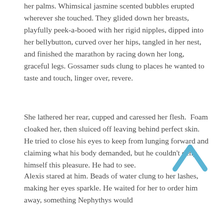her palms. Whimsical jasmine scented bubbles erupted wherever she touched. They glided down her breasts, playfully peek-a-booed with her rigid nipples, dipped into her bellybutton, curved over her hips, tangled in her nest, and finished the marathon by racing down her long, graceful legs. Gossamer suds clung to places he wanted to taste and touch, linger over, revere.
She lathered her rear, cupped and caressed her flesh.  Foam cloaked her, then sluiced off leaving behind perfect skin. He tried to close his eyes to keep from lunging forward and claiming what his body demanded, but he couldn't deny himself this pleasure. He had to see.
Alexis stared at him. Beads of water clung to her lashes, making her eyes sparkle. He waited for her to order him away, something Nephythys would